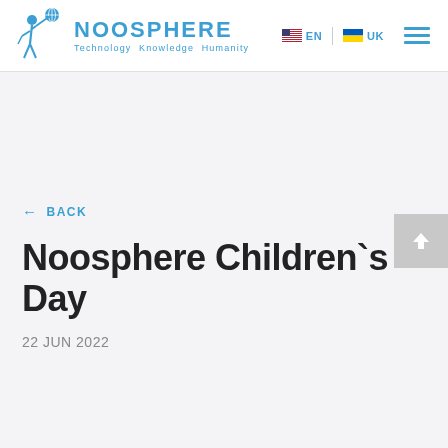[Figure (logo): Noosphere logo: blue figure holding globe on stick, with text NOOSPHERE and tagline Technology Knowledge Humanity]
EN | UK
← BACK
Noosphere Children`s Day
22 JUN 2022